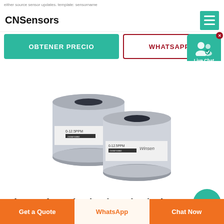either source sensor updates. template: sensorname
CNSensors
OBTENER PRECIO
WHATSAPP
Live Chat
[Figure (photo): Two cylindrical electrochemical gas sensors with silver metallic casing and black labels, showing Winsen brand markings.]
Risco Alarm | Wired And Wirel
Get a Quote
WhatsApp
Chat Now